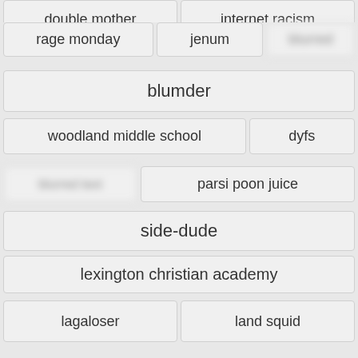double mother | internet racism
rage monday | jenum | [blurred]
blumder
woodland middle school | dyfs
[blurred] | parsi poon juice
side-dude
lexington christian academy
lagaloser | land squid
kiddie kicker | melled | motoko
corporationalist | grusby
[Figure (screenshot): Hulu Disney+ ESPN+ GET THE DISNEY BUNDLE advertisement banner. Text: Incl. Hulu (ad-supported) or Hulu (No Ads). Access content from each service separately. ©2021 Disney and its related entities.]